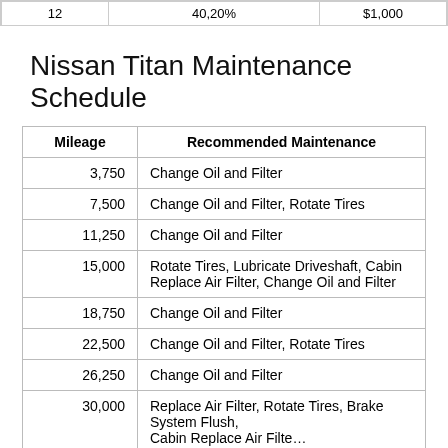|  |  |  |
| --- | --- | --- |
| 12 | 40,20% | $1,000 |
Nissan Titan Maintenance Schedule
| Mileage | Recommended Maintenance |
| --- | --- |
| 3,750 | Change Oil and Filter |
| 7,500 | Change Oil and Filter, Rotate Tires |
| 11,250 | Change Oil and Filter |
| 15,000 | Rotate Tires, Lubricate Driveshaft, Cabin Replace Air Filter, Change Oil and Filter |
| 18,750 | Change Oil and Filter |
| 22,500 | Change Oil and Filter, Rotate Tires |
| 26,250 | Change Oil and Filter |
| 30,000 | Replace Air Filter, Rotate Tires, Brake System Flush, Cabin Replace Air Filter, Change Oil and Filter |